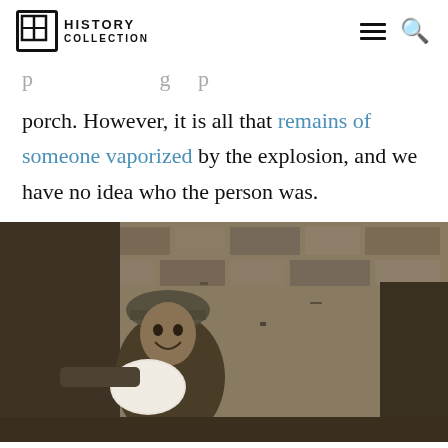HISTORY COLLECTION
porch. However, it is all that remains of someone vaporized by the explosion, and we have no idea who the person was.
[Figure (photo): Black and white / sepia photograph of a World War I soldier wearing a helmet, sitting in a trench or against a stone wall, smiling, being attended to with a white bandage or cloth.]